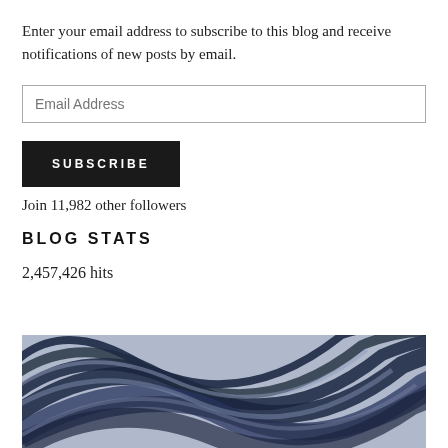Enter your email address to subscribe to this blog and receive notifications of new posts by email.
Email Address
SUBSCRIBE
Join 11,982 other followers
BLOG STATS
2,457,426 hits
[Figure (illustration): Abstract swirling pattern with dark navy and blue-grey curved lines on a lighter blue-grey background, resembling a stylized vortex or spiral design.]